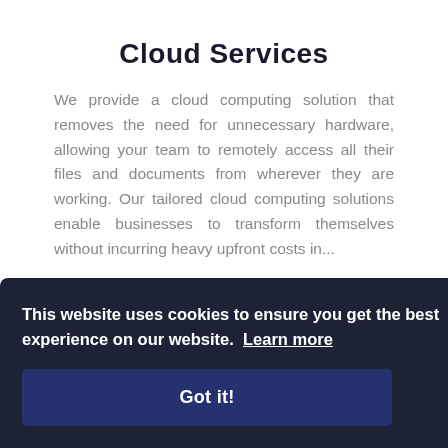Cloud Services
We provide a cloud computing solution that removes the need for unnecessary hardware, allowing your team to remotely access all their files and documents from wherever they are working. Our tailored cloud computing solutions enable businesses to transform themselves without incurring heavy upfront costs in...
This website uses cookies to ensure you get the best experience on our website. Learn more
Got it!